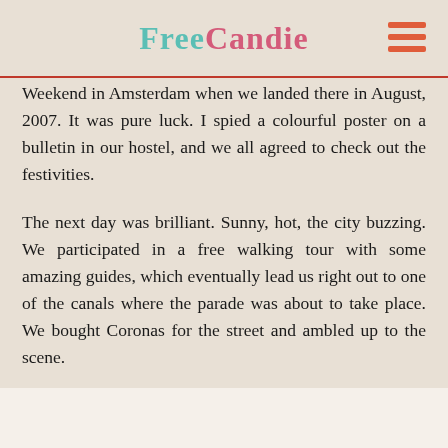FreeCandie
Weekend in Amsterdam when we landed there in August, 2007. It was pure luck. I spied a colourful poster on a bulletin in our hostel, and we all agreed to check out the festivities.
The next day was brilliant. Sunny, hot, the city buzzing. We participated in a free walking tour with some amazing guides, which eventually lead us right out to one of the canals where the parade was about to take place. We bought Coronas for the street and ambled up to the scene.